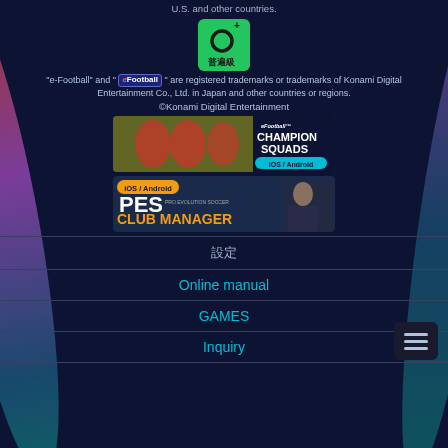U.S. and other countries.
[Figure (other): Green rating badge with Chinese characters 普遍級 (General audience) and O+ symbol]
"e-Football" and "eFootball" are registered trademarks or trademarks of Konami Digital Entertainment Co., Ltd. in Japan and other countries or regions.
©Konami Digital Entertainment
[Figure (other): eFootball Champion Squads banner for iOS/Android showing soccer players in red jerseys]
[Figure (other): PES Pro Evolution Soccer Club Manager banner for iOS/Android]
設定
Online manual
GAMES
Inquiry